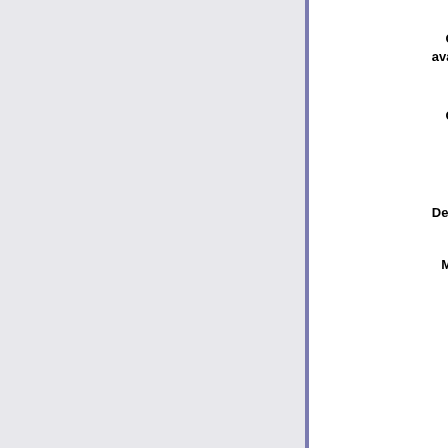R&P Contract available?: Yes
| Contract Name/Title | Period valid: |
| --- | --- |
| Lippincott Williams & Wilkins Journals | 01.01.20... 31.12.20... |
Date Deposited: 24 Nov 2016 14:24
Last Modified: 27 Aug 2022 00:25
URI: https://www.jdb.uzh.ch/id/eprint/38...